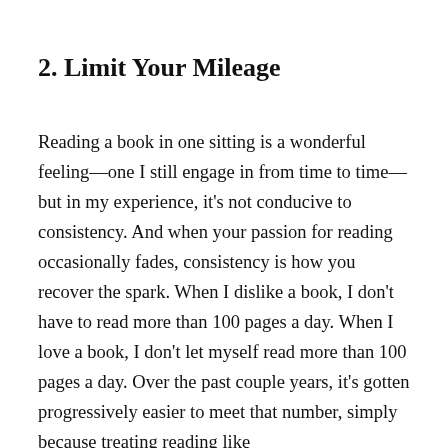2. Limit Your Mileage
Reading a book in one sitting is a wonderful feeling––one I still engage in from time to time––but in my experience, it's not conducive to consistency. And when your passion for reading occasionally fades, consistency is how you recover the spark. When I dislike a book, I don't have to read more than 100 pages a day. When I love a book, I don't let myself read more than 100 pages a day. Over the past couple years, it's gotten progressively easier to meet that number, simply because treating reading like